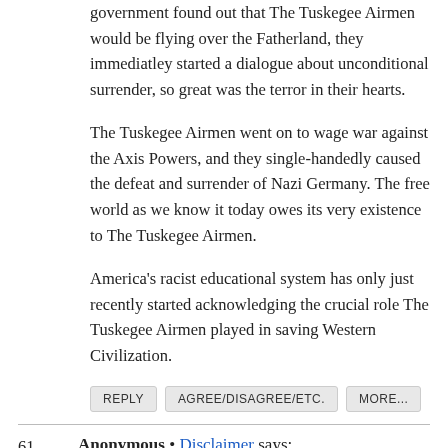government found out that The Tuskegee Airmen would be flying over the Fatherland, they immediatley started a dialogue about unconditional surrender, so great was the terror in their hearts.
The Tuskegee Airmen went on to wage war against the Axis Powers, and they single-handedly caused the defeat and surrender of Nazi Germany. The free world as we know it today owes its very existence to The Tuskegee Airmen.
America's racist educational system has only just recently started acknowledging the crucial role The Tuskegee Airmen played in saving Western Civilization.
REPLY
AGREE/DISAGREE/ETC.
MORE...
61. Anonymous • Disclaimer says: February 10, 2013 at 10:28 pm GMT • 9.7 years ago
He must have just watched "Red Tails".
REPLY
AGREE/DISAGREE/ETC.
MORE...